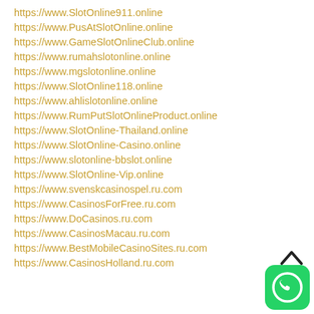https://www.SlotOnline911.online
https://www.PusAtSlotOnline.online
https://www.GameSlotOnlineClub.online
https://www.rumahslotonline.online
https://www.mgslotonline.online
https://www.SlotOnline118.online
https://www.ahlislotonline.online
https://www.RumPutSlotOnlineProduct.online
https://www.SlotOnline-Thailand.online
https://www.SlotOnline-Casino.online
https://www.slotonline-bbslot.online
https://www.SlotOnline-Vip.online
https://www.svenskcasinospel.ru.com
https://www.CasinosForFree.ru.com
https://www.DoCasinos.ru.com
https://www.CasinosMacau.ru.com
https://www.BestMobileCasinoSites.ru.com
https://www.CasinosHolland.ru.com